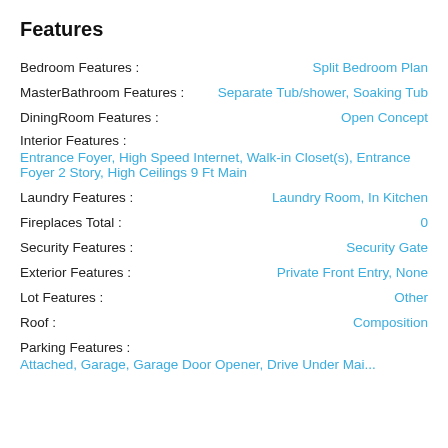Features
Bedroom Features : Split Bedroom Plan
MasterBathroom Features : Separate Tub/shower, Soaking Tub
DiningRoom Features : Open Concept
Interior Features :
Entrance Foyer, High Speed Internet, Walk-in Closet(s), Entrance Foyer 2 Story, High Ceilings 9 Ft Main
Laundry Features : Laundry Room, In Kitchen
Fireplaces Total : 0
Security Features : Security Gate
Exterior Features : Private Front Entry, None
Lot Features : Other
Roof : Composition
Parking Features :
Attached, Garage, Garage Door Opener, Drive Under Main Level